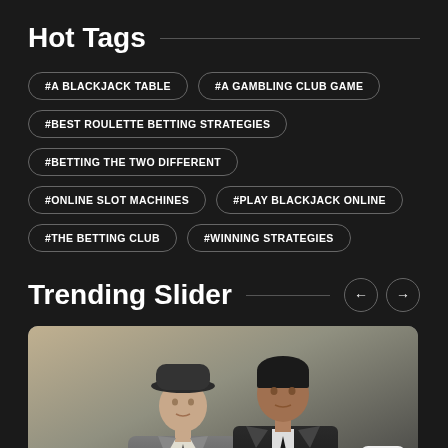Hot Tags
#A BLACKJACK TABLE
#A GAMBLING CLUB GAME
#BEST ROULETTE BETTING STRATEGIES
#BETTING THE TWO DIFFERENT
#ONLINE SLOT MACHINES
#PLAY BLACKJACK ONLINE
#THE BETTING CLUB
#WINNING STRATEGIES
Trending Slider
[Figure (photo): Two men in suits, one wearing a fedora hat, posed in a moody dark style photo]